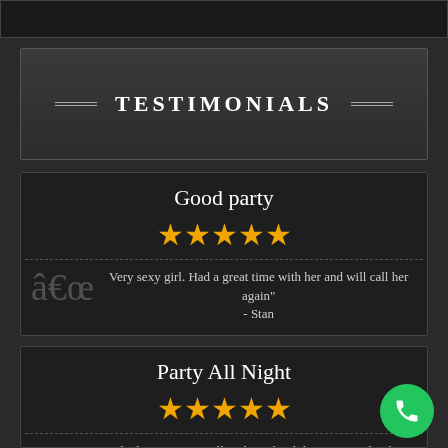TESTIMONIALS
Good party
★★★★★
Very sexy girl. Had a great time with her and will call her again" - Stan
Party All Night
★★★★★
We had a great party all night and it didn't cost much. She is quit busty girl and I enjoyed that very much."